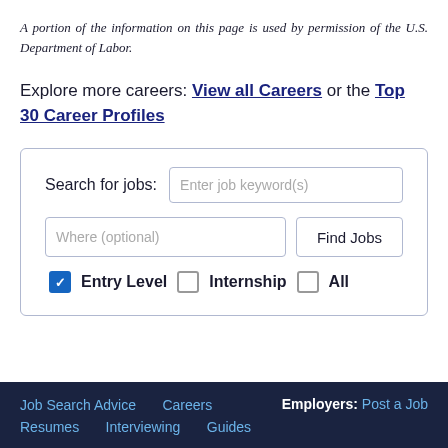A portion of the information on this page is used by permission of the U.S. Department of Labor.
Explore more careers: View all Careers or the Top 30 Career Profiles
[Figure (screenshot): Job search widget with keyword input, location input, Find Jobs button, and checkboxes for Entry Level, Internship, All]
Job Search Advice  Careers  Employers: Post a Job  Resumes  Interviewing  Guides